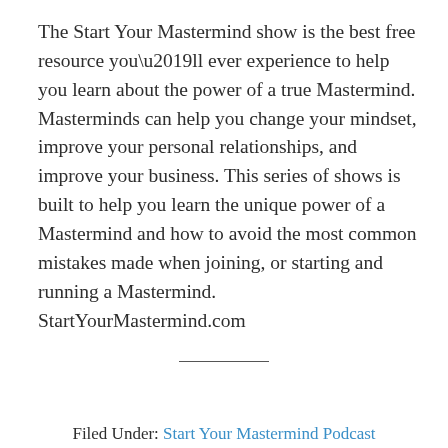The Start Your Mastermind show is the best free resource you’ll ever experience to help you learn about the power of a true Mastermind. Masterminds can help you change your mindset, improve your personal relationships, and improve your business. This series of shows is built to help you learn the unique power of a Mastermind and how to avoid the most common mistakes made when joining, or starting and running a Mastermind. StartYourMastermind.com
Filed Under: Start Your Mastermind Podcast